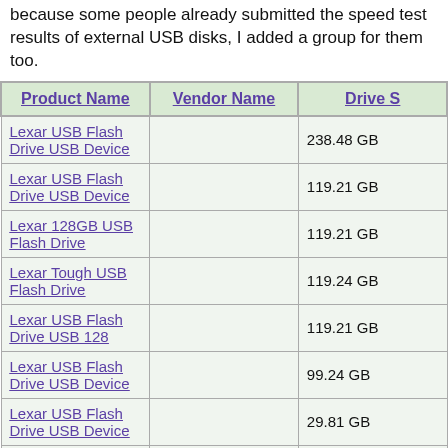because some people already submitted the speed test results of external USB disks, I added a group for them too.
| Product Name | Vendor Name | Drive S |
| --- | --- | --- |
| Lexar USB Flash Drive USB Device |  | 238.48 GB |
| Lexar USB Flash Drive USB Device |  | 119.21 GB |
| Lexar 128GB USB Flash Drive |  | 119.21 GB |
| Lexar Tough USB Flash Drive |  | 119.24 GB |
| Lexar USB Flash Drive USB 128 |  | 119.21 GB |
| Lexar USB Flash Drive USB Device |  | 99.24 GB |
| Lexar USB Flash Drive USB Device |  | 29.81 GB |
| Lexar USB 64 GB |  | 59.61 GB |
| Lexar USB Flash Drive USB Device |  | 29.81 GB |
| Lexar USB Flash Drive USB Device |  | 29.81 GB |
| Lexar USB Flash Drive USB Device |  | 29.80 GB |
| Lexar USB Flash Drive USB Device |  | 29.80 GB |
| Lexar USB Flash Drive USB Device |  | 29.80 GB |